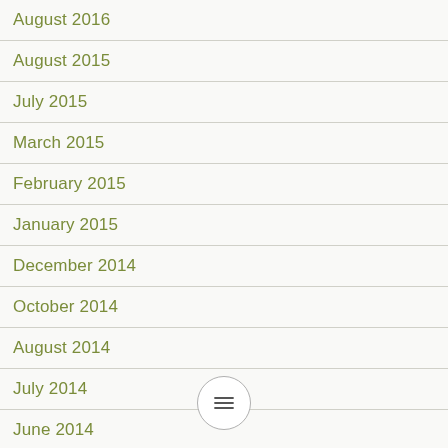August 2016
August 2015
July 2015
March 2015
February 2015
January 2015
December 2014
October 2014
August 2014
July 2014
June 2014